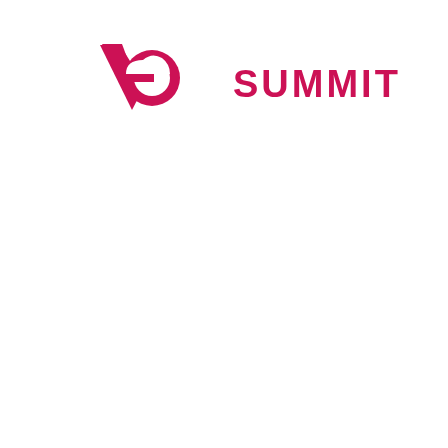[Figure (logo): Ve logo mark — a stylized 'Ve' letterform in crimson/magenta, consisting of a V shape with a circle/e element, forming a combined monogram]
SUMMIT